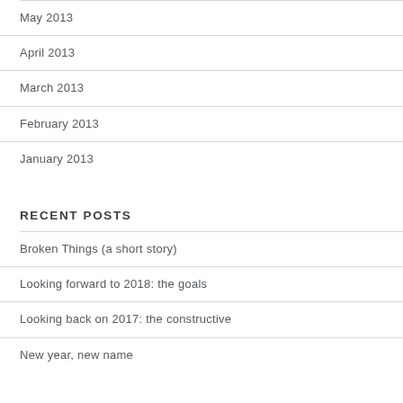May 2013
April 2013
March 2013
February 2013
January 2013
RECENT POSTS
Broken Things (a short story)
Looking forward to 2018: the goals
Looking back on 2017: the constructive
New year, new name